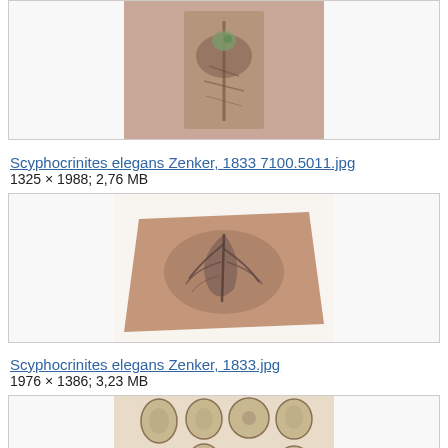[Figure (photo): Top portion of fossil specimen thumbnail, partially cut off at top of page - Scyphocrinites elegans fossil on reddish-brown rock surface]
[Figure (photo): Fossil specimen of Scyphocrinites elegans Zenker 1833 - plant-like fossil impression on pinkish-red rock slab]
Scyphocrinites elegans Zenker, 1833.jpg
1976 × 1386; 3,23 MB
[Figure (photo): Collection of small oval fossil specimens arranged in rows on beige background - appears to be seed or spore fossils]